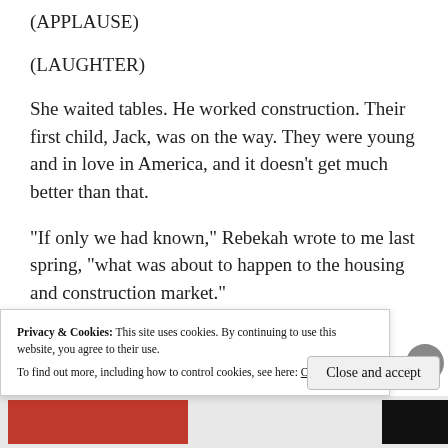(APPLAUSE)
(LAUGHTER)
She waited tables. He worked construction. Their first child, Jack, was on the way. They were young and in love in America, and it doesn't get much better than that.
“If only we had known,” Rebekah wrote to me last spring, “what was about to happen to the housing and construction market.”
Privacy & Cookies: This site uses cookies. By continuing to use this website, you agree to their use.
To find out more, including how to control cookies, see here: Cookie Policy
Close and accept